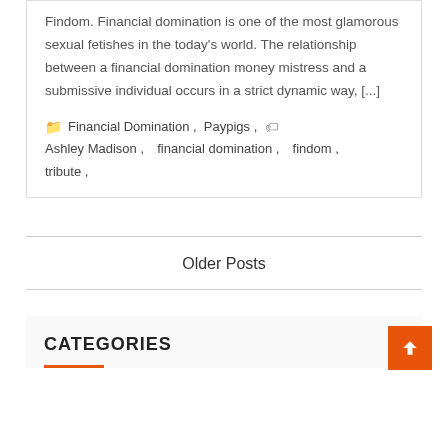Findom. Financial domination is one of the most glamorous sexual fetishes in the today's world. The relationship between a financial domination money mistress and a submissive individual occurs in a strict dynamic way, [...]
Financial Domination , Paypigs , Ashley Madison , financial domination , findom , tribute ,
Older Posts
CATEGORIES